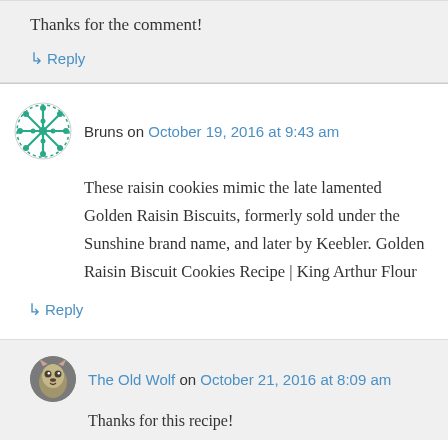Thanks for the comment!
↳ Reply
Bruns on October 19, 2016 at 9:43 am
These raisin cookies mimic the late lamented Golden Raisin Biscuits, formerly sold under the Sunshine brand name, and later by Keebler. Golden Raisin Biscuit Cookies Recipe | King Arthur Flour
↳ Reply
The Old Wolf on October 21, 2016 at 8:09 am
Thanks for this recipe!